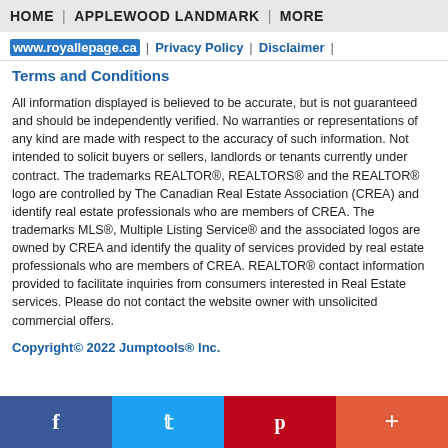HOME | APPLEWOOD LANDMARK | MORE
www.royallepage.ca | Privacy Policy | Disclaimer |
Terms and Conditions
All information displayed is believed to be accurate, but is not guaranteed and should be independently verified. No warranties or representations of any kind are made with respect to the accuracy of such information. Not intended to solicit buyers or sellers, landlords or tenants currently under contract. The trademarks REALTOR®, REALTORS® and the REALTOR® logo are controlled by The Canadian Real Estate Association (CREA) and identify real estate professionals who are members of CREA. The trademarks MLS®, Multiple Listing Service® and the associated logos are owned by CREA and identify the quality of services provided by real estate professionals who are members of CREA. REALTOR® contact information provided to facilitate inquiries from consumers interested in Real Estate services. Please do not contact the website owner with unsolicited commercial offers.
Copyright© 2022 Jumptools® Inc.